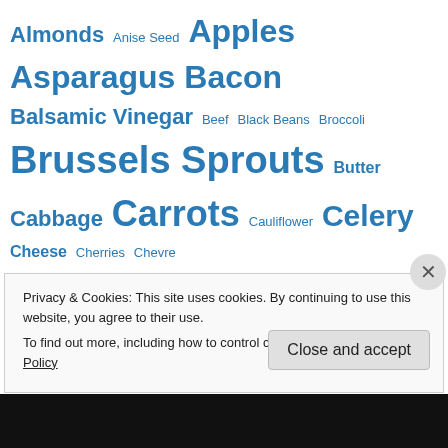Almonds Anise Seed Apples Asparagus Bacon Balsamic Vinegar Beef Black Beans Broccoli Brussels Sprouts Butter Cabbage Carrots Cauliflower Celery Cheese Cherries Chevre Chicken Chickpeas Cilantro Cucumbers Dried Cranberries Eggs Fennel Feta Feta Cheese Garlic Ginger Grapefruit Grapes Green Beans Green Onions Ground Turkey Jalapeño kale Leeks Lemon Lemons Lentils Lettuce Mushrooms Mustard olive oil Olives Onion Onions Parmesan Parsley
Privacy & Cookies: This site uses cookies. By continuing to use this website, you agree to their use.
To find out more, including how to control cookies, see here: Cookie Policy
Close and accept